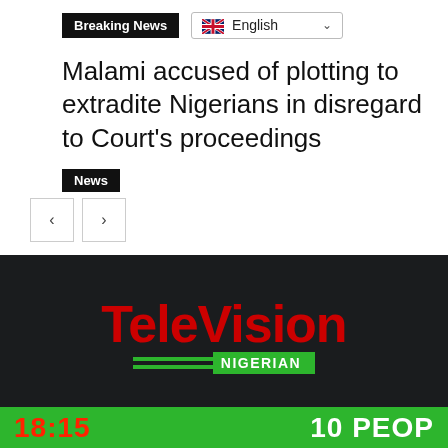Breaking News
English
Malami accused of plotting to extradite Nigerians in disregard to Court's proceedings
News
[Figure (screenshot): Television Nigerian logo on dark background with green Nigerian bar below]
18:15   10 PEOP